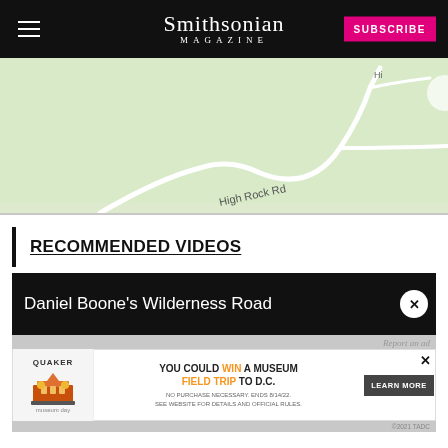Smithsonian MAGAZINE | SUBSCRIBE
[Figure (map): A map showing roads including High Rock Rd in a green wooded area]
RECOMMENDED VIDEOS
Daniel Boone's Wilderness Road
[Figure (screenshot): Advertisement: Quaker - You could win a museum field trip to D.C. Learn More. No purchase necessary. Ends 8/14/22. See website for details and official rules.]